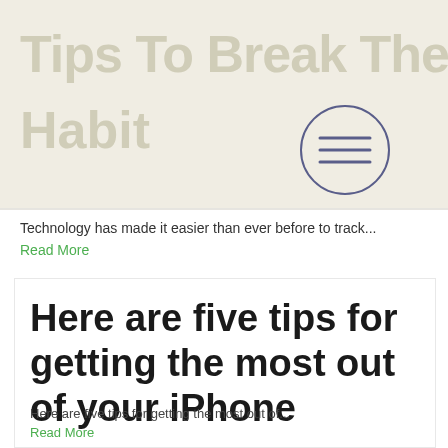[Figure (screenshot): Top card with faded large title text 'Tips To Break The Habit' on a beige/cream background with a circular hamburger menu icon on the right]
Technology has made it easier than ever before to track...
Read More
Here are five tips for getting the most out of your iPhone
Here are five tips for getting the most out of...
Read More